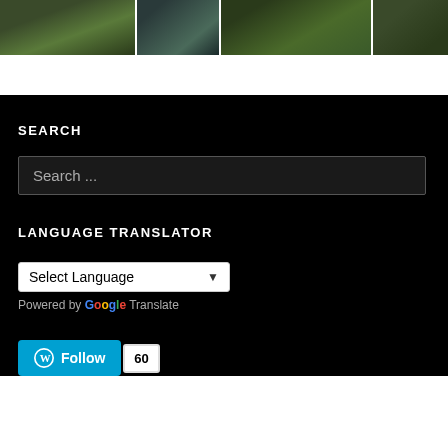[Figure (photo): Four nature/outdoor photographs arranged horizontally at the top of the page, showing forest/stream scenes]
SEARCH
Search ...
LANGUAGE TRANSLATOR
Select Language
Powered by Google Translate
Follow 60